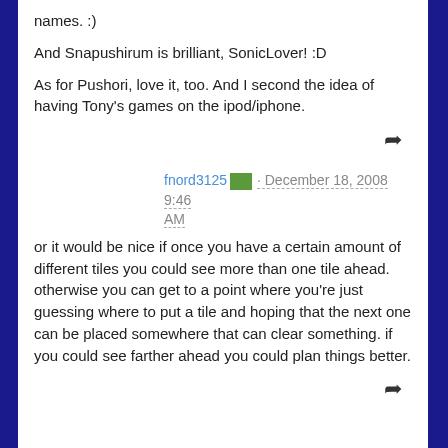names. :)
And Snapushirum is brilliant, SonicLover! :D
As for Pushori, love it, too. And I second the idea of having Tony's games on the ipod/iphone.
fnord3125 · December 18, 2008 9:46 AM
or it would be nice if once you have a certain amount of different tiles you could see more than one tile ahead. otherwise you can get to a point where you're just guessing where to put a tile and hoping that the next one can be placed somewhere that can clear something. if you could see farther ahead you could plan things better.